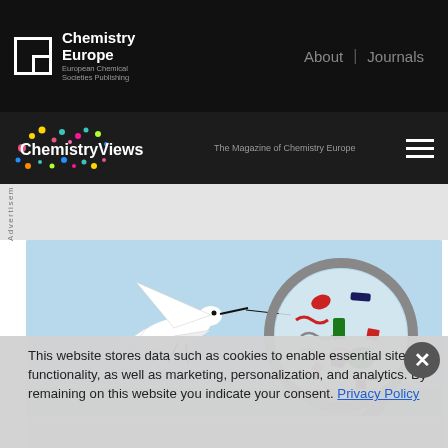Chemistry Europe | European Chemical Societies Publishing | About | Journals
ChemistryViews — The Magazine of Chemistry Europe
Advertisem
[Figure (illustration): Illustration of a white bird (egret/heron) in flight with a magnifying glass zooming into microplastics of various shapes and colors (red, green, dark blue, purple, grey) against a light blue sky background]
This website stores data such as cookies to enable essential site functionality, as well as marketing, personalization, and analytics. By remaining on this website you indicate your consent. Privacy Policy